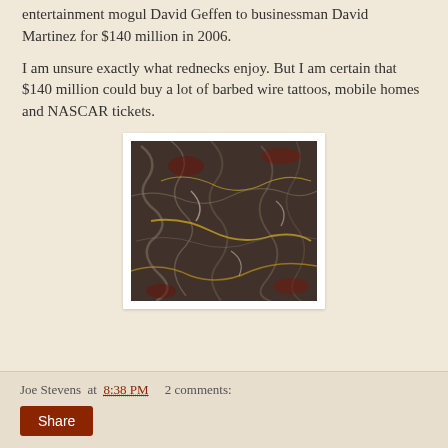entertainment mogul David Geffen to businessman David Martinez for $140 million in 2006.
I am unsure exactly what rednecks enjoy. But I am certain that $140 million could buy a lot of barbed wire tattoos, mobile homes and NASCAR tickets.
[Figure (photo): Abstract expressionist painting — dark, heavily textured canvas with swirling black, brown, red, and yellow paint drips and splatters in the style of Jackson Pollock.]
Joe Stevens at 8:38 PM    2 comments: